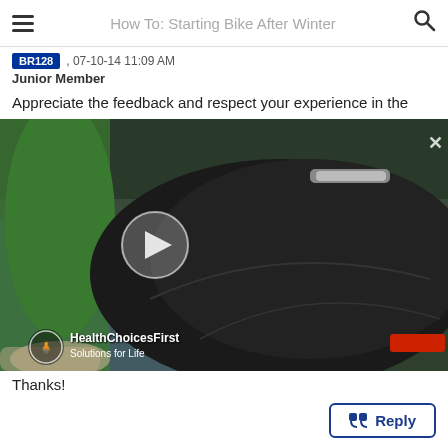How To: Starting Bike After Winter
BR128 , 07-10-14 11:09 AM
Junior Member
Appreciate the feedback and respect your experience in the
[Figure (screenshot): Video thumbnail showing a cyclist in black cycling shorts and green jersey riding a bike, with a HealthChoicesFirst Solutions for Life watermark in the bottom left, a play button in the center-left, and a close (x) button in the top right.]
Thanks!
Reply
(avatar/user icon at bottom)